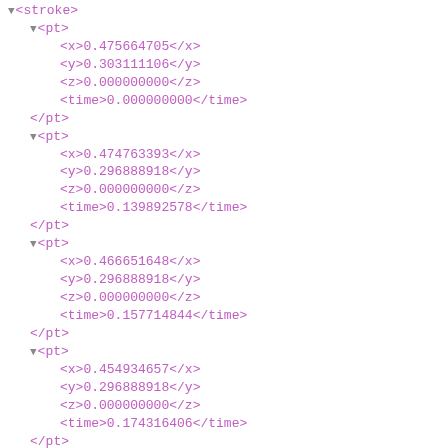▼<stroke> ▼<pt> <x>0.475664705</x> <y>0.303111106</y> <z>0.000000000</z> <time>0.000000000</time> </pt> ▼<pt> <x>0.474763393</x> <y>0.296888918</y> <z>0.000000000</z> <time>0.139892578</time> </pt> ▼<pt> <x>0.466651648</x> <y>0.296888918</y> <z>0.000000000</z> <time>0.157714844</time> </pt> ▼<pt> <x>0.454934657</x> <y>0.296888918</y> <z>0.000000000</z> <time>0.174316406</time> </pt> ▼<pt> <x>0.441865712</x> <y>0.296888918</y> <z>0.000000000</z> <time>0.191650391</time> </pt>